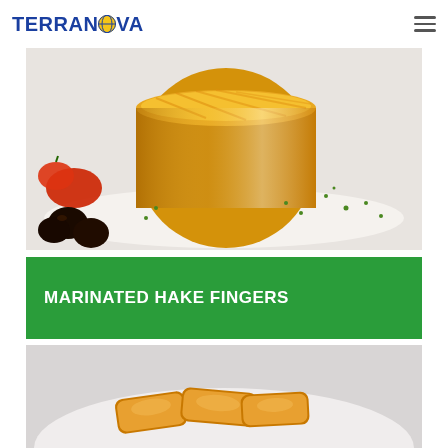TERRANOVA
[Figure (photo): Close-up food photo: a cylindrical mold of layered potato omelette/tortilla with shredded potato topping, garnished with black olives, sliced tomato, and chopped green herbs on a white plate]
MARINATED HAKE FINGERS
[Figure (photo): Partial food photo: marinated hake fingers / fried fish fingers on a white plate, golden-brown breaded coating visible at bottom of frame]